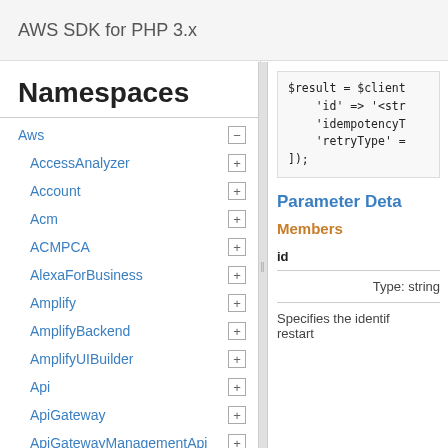AWS SDK for PHP 3.x
Namespaces
Aws
AccessAnalyzer
Account
Acm
ACMPCA
AlexaForBusiness
Amplify
AmplifyBackend
AmplifyUIBuilder
Api
ApiGateway
ApiGatewayManagementApi
[Figure (screenshot): Code snippet showing $result = $client-> call with parameters 'id' => '<str', 'idempotencyT', 'retryType' =, ]);]
Parameter Deta
Members
id
Type: string
Specifies the identif restart